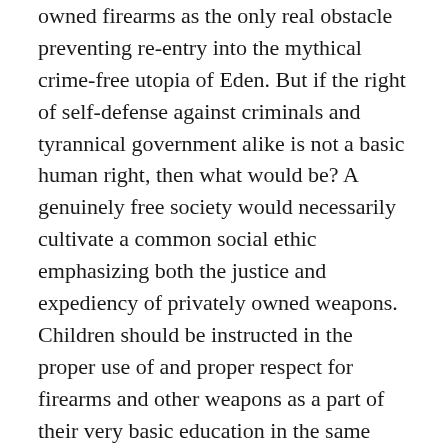owned firearms as the only real obstacle preventing re-entry into the mythical crime-free utopia of Eden. But if the right of self-defense against criminals and tyrannical government alike is not a basic human right, then what would be? A genuinely free society would necessarily cultivate a common social ethic emphasizing both the justice and expediency of privately owned weapons. Children should be instructed in the proper use of and proper respect for firearms and other weapons as a part of their very basic education in the same way as elementary literacy, mathematical, health, and nutritional skills. Voluntary associations should form for the purpose of training ordinary people in the use of weapons for defensive purposes. Most of all, a free society's legal code should recognize the